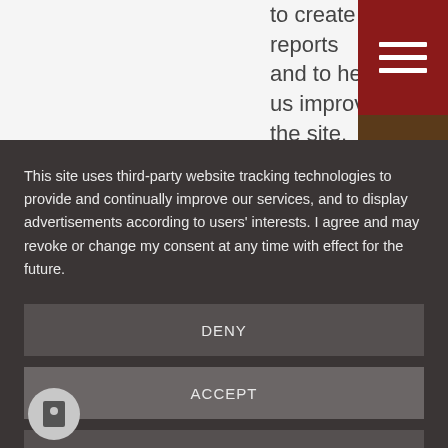to create reports and to help us improve the site.
[Figure (screenshot): Red hamburger menu button with three white horizontal lines on dark red background]
This site uses third-party website tracking technologies to provide and continually improve our services, and to display advertisements according to users' interests. I agree and may revoke or change my consent at any time with effect for the future.
DENY
ACCEPT
MORE